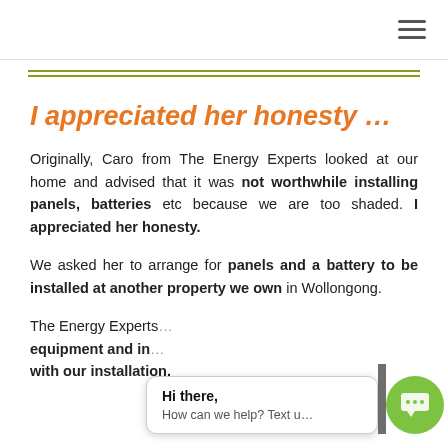Navigation menu icon (hamburger)
I appreciated her honesty …
Originally, Caro from The Energy Experts looked at our home and advised that it was not worthwhile installing panels, batteries etc because we are too shaded. I appreciated her honesty.
We asked her to arrange for panels and a battery to be installed at another property we own in Wollongong.
The Energy Experts … equipment and in … with our installation.